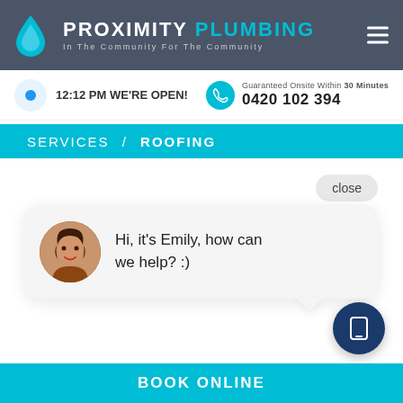PROXIMITY PLUMBING - In The Community For The Community
12:12 PM WE'RE OPEN!
Guaranteed Onsite Within 30 Minutes
0420 102 394
SERVICES / ROOFING
close
Hi, it's Emily, how can we help? :)
BOOK ONLINE